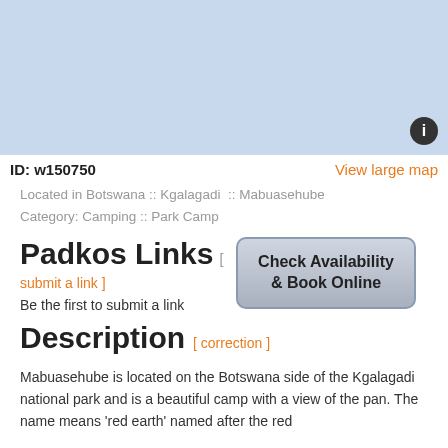[Figure (map): Light blue map area showing a geographic region, with an info icon in the bottom right corner]
ID: w150750   View large map
Located in Botswana :: Kgalagadi  :: Mabuasehube
Category: Camping :: Park Camp
Padkos Links
submit a link ]
Be the first to submit a link
[Figure (other): Button: Check Availability & Book Online]
Description [ correction ]
Mabuasehube is located on the Botswana side of the Kgalagadi national park and is a beautiful camp with a view of the pan. The name means 'red earth' named after the red